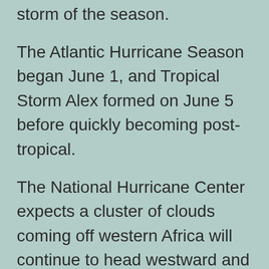storm of the season.
The Atlantic Hurricane Season began June 1, and Tropical Storm Alex formed on June 5 before quickly becoming post-tropical.
The National Hurricane Center expects a cluster of clouds coming off western Africa will continue to head westward and potentially develop in the waters northeast of South America. As it stands the National Hurricane Center puts the chances of developing into a Tropical Depression at just 20%.
Potential of tropical development within 5 days